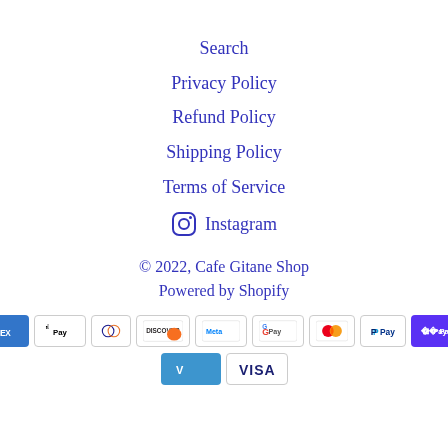Search
Privacy Policy
Refund Policy
Shipping Policy
Terms of Service
Instagram
© 2022, Cafe Gitane Shop
Powered by Shopify
[Figure (other): Payment method logos: American Express, Apple Pay, Diners Club, Discover, Meta Pay, Google Pay, Mastercard, PayPal, Shop Pay, Venmo, Visa]